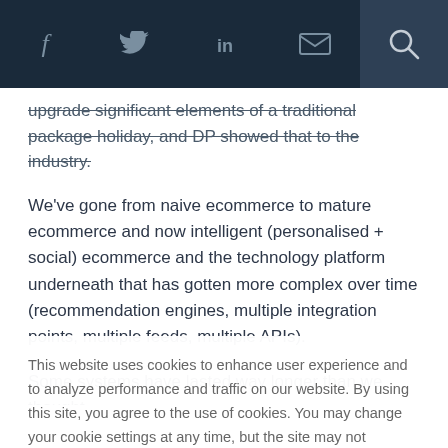Social share bar with icons: Facebook, Twitter, LinkedIn, Email, Search
upgrade significant elements of a traditional package holiday, and DP showed that to the industry.
We've gone from naive ecommerce to mature ecommerce and now intelligent (personalised + social) ecommerce and the technology platform underneath that has gotten more complex over time (recommendation engines, multiple integration points, multiple feeds, multiple APIs).
Some systems have lasted way longer than we thought
This website uses cookies to enhance user experience and to analyze performance and traffic on our website. By using this site, you agree to the use of cookies. You may change your cookie settings at any time, but the site may not function properly.  Cookie Policy
Close